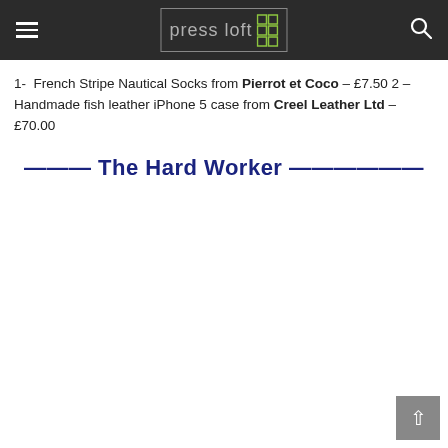Press Loft [logo with navigation]
1-  French Stripe Nautical Socks from Pierrot et Coco – £7.50 2 – Handmade fish leather iPhone 5 case from Creel Leather Ltd – £70.00
——— The Hard Worker ———————